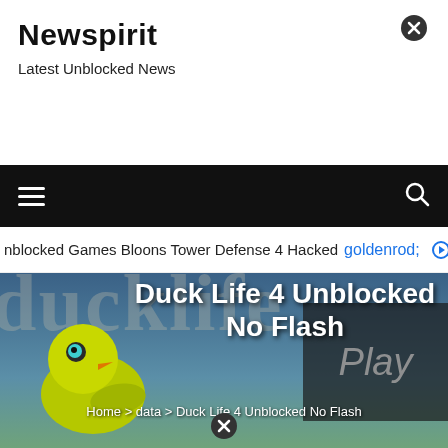Newspirit
Latest Unblocked News
[Figure (screenshot): Navigation bar with hamburger menu icon on the left and search icon on the right, black background]
nblocked Games Bloons Tower Defense 4 Hacked  ⊙  Godz
[Figure (screenshot): Duck Life 4 Unblocked No Flash game page hero image showing ducklife logo text and a cartoon yellow duck character, with 'Duck Life 4 Unblocked No Flash' title overlay and a Play button panel on the right]
Home > data > Duck Life 4 Unblocked No Flash